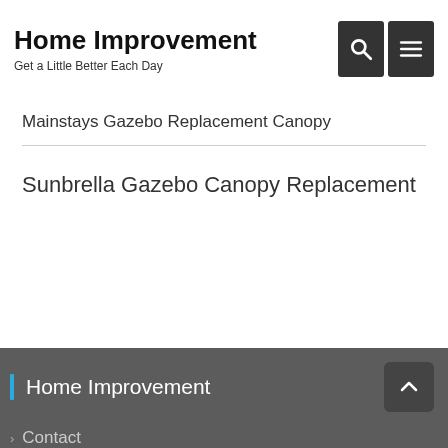Home Improvement
Get a Little Better Each Day
Mainstays Gazebo Replacement Canopy
Sunbrella Gazebo Canopy Replacement
Home Improvement
Contact